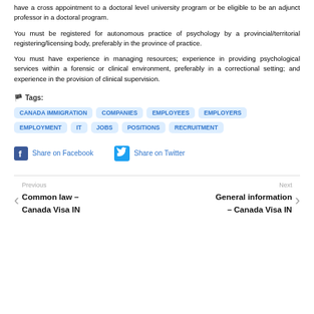have a cross appointment to a doctoral level university program or be eligible to be an adjunct professor in a doctoral program.
You must be registered for autonomous practice of psychology by a provincial/territorial registering/licensing body, preferably in the province of practice.
You must have experience in managing resources; experience in providing psychological services within a forensic or clinical environment, preferably in a correctional setting; and experience in the provision of clinical supervision.
Tags: CANADA IMMIGRATION, COMPANIES, EMPLOYEES, EMPLOYERS, EMPLOYMENT, IT, JOBS, POSITIONS, RECRUITMENT
Share on Facebook  Share on Twitter
Previous: Common law – Canada Visa IN   Next: General information – Canada Visa IN